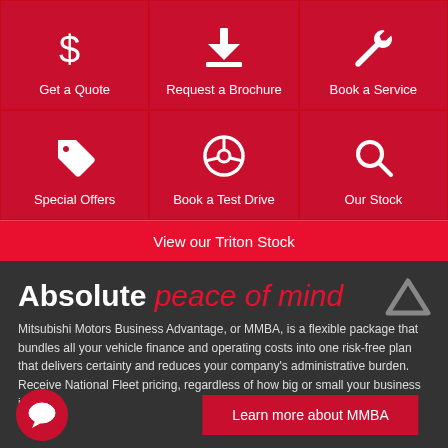[Figure (infographic): 3x2 grid of red navigation buttons: Get a Quote (dollar sign icon), Request a Brochure (download icon), Book a Service (wrench icon), Special Offers (tag icon), Book a Test Drive (steering wheel icon), Our Stock (search icon)]
View our Triton Stock
Absolute peace of mind
Mitsubishi Motors Business Advantage, or MMBA, is a flexible package that bundles all your vehicle finance and operating costs into one risk-free plan that delivers certainty and reduces your company's administrative burden. Receive National Fleet pricing, regardless of how big or small your business is.
Learn more about MMBA